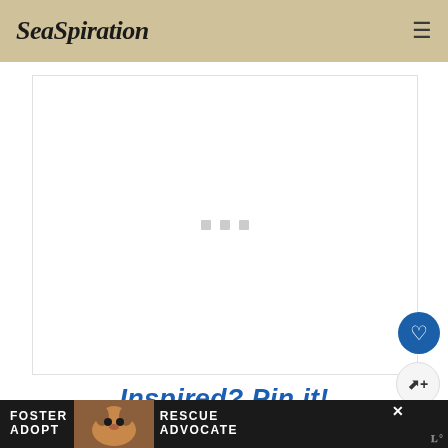SeaSpiration
[Figure (other): White content area with loading placeholder dots (three small gray squares)]
Inspired? Pin it!
[Figure (other): Advertisement banner at bottom showing dog foster/adopt/rescue/advocate ad with beagle photo on dark background]